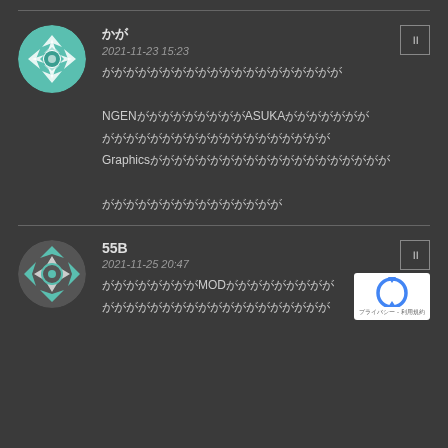Comment block 1: username, timestamp 2021-11-23 15:23, comment text with NGEN and ASUKA references and Graphics mention
Comment block 2: username 55B, timestamp 2021-11-25 20:47, comment text with MOD reference